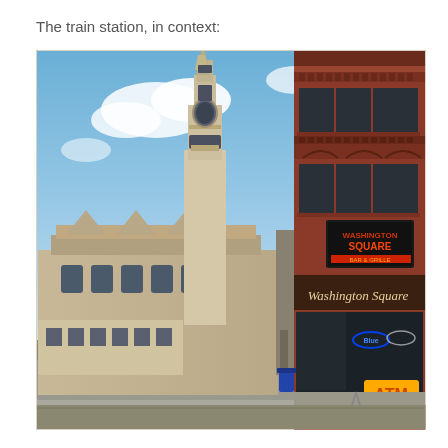The train station, in context:
[Figure (photo): Street-level photograph showing a Gothic-style train station building with a tall ornate clock tower on the left side, set against a partly cloudy blue sky. On the right side is a multi-story red brick building with 'Washington Square' signage on the ground floor storefront, which also has neon beer signs and an ATM sign visible in the windows. A narrow alley separates the two buildings. The foreground shows a sidewalk and street.]